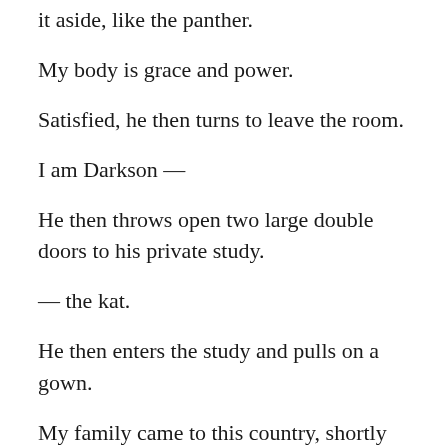it aside, like the panther.
My body is grace and power.
Satisfied, he then turns to leave the room.
I am Darkson —
He then throws open two large double doors to his private study.
— the kat.
He then enters the study and pulls on a gown.
My family came to this country, shortly after the overthrow of the Czar — some seventy odd years ago.. There was no room in Russia for aristocrats. For culture. For honor.